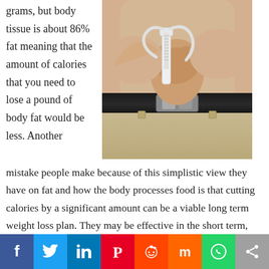grams, but body tissue is about 86% fat meaning that the amount of calories that you need to lose a pound of body fat would be less. Another
[Figure (photo): Close-up photo of a person's midsection being measured with a body fat caliper. The person is wearing khaki pants and a black belt. Hands are pinching abdominal skin fat with a white caliper tool.]
mistake people make because of this simplistic view they have on fat and how the body processes food is that cutting calories by a significant amount can be a viable long term weight loss plan. They may be effective in the short term, but if you are cutting 25%
f  Twitter  in  Pinterest  Reddit  Mix  WhatsApp  Share